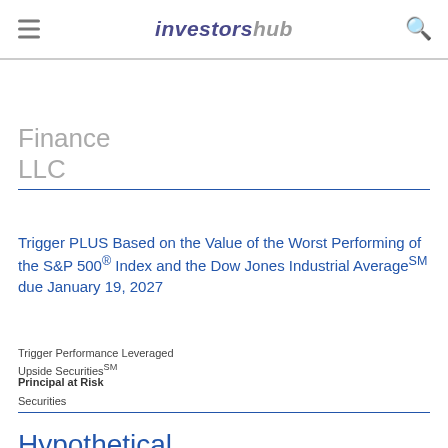investorshub
Finance
LLC
Trigger PLUS Based on the Value of the Worst Performing of the S&P 500® Index and the Dow Jones Industrial AverageSM due January 19, 2027
Trigger Performance Leveraged Upside SecuritiesSM
Principal at Risk
Securities
Hypothetical Examples